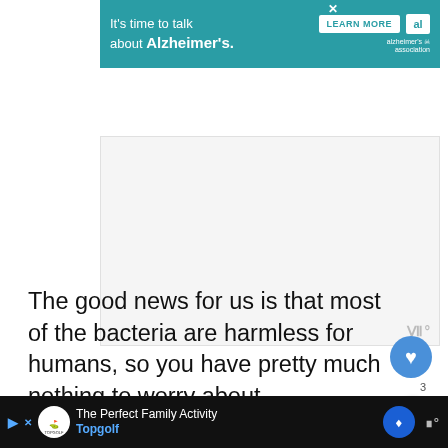[Figure (screenshot): Alzheimer's Association advertisement banner: teal background with text "It's time to talk about Alzheimer's." and a LEARN MORE button, plus the association logo on the right.]
[Figure (screenshot): Gray placeholder advertisement box with a small icon in the bottom right corner.]
The good news for us is that most of the bacteria are harmless for humans, so you have pretty much nothing to worry about.
11 ways Chihuahuas show affection
[Figure (screenshot): Bottom advertisement banner for Topgolf: black background with Topgolf logo, text 'The Perfect Family Activity' and 'Topgolf', and a blue navigation arrow.]